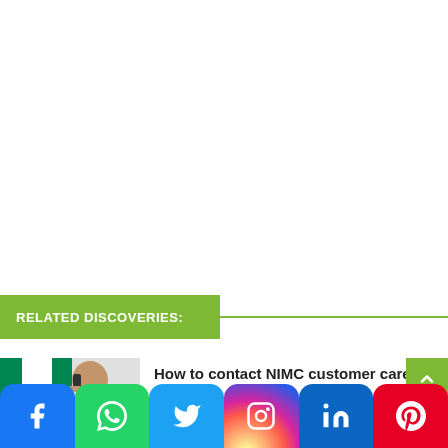RELATED DISCOVERIES:
[Figure (photo): Thumbnail image of a man holding a phone to his ear with Nigerian flag colors (green and white) visible in the background]
How to contact NIMC customer care (2022)
Social share bar with Facebook, WhatsApp, Twitter, Instagram, LinkedIn, Pinterest buttons